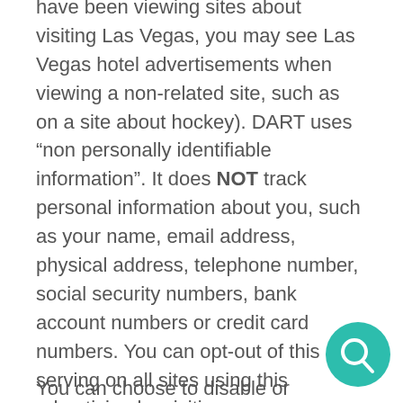have been viewing sites about visiting Las Vegas, you may see Las Vegas hotel advertisements when viewing a non-related site, such as on a site about hockey). DART uses "non personally identifiable information". It does NOT track personal information about you, such as your name, email address, physical address, telephone number, social security numbers, bank account numbers or credit card numbers. You can opt-out of this ad serving on all sites using this advertising by visiting http://www.doubleclick.com/privacy/d…ervi
You can choose to disable or